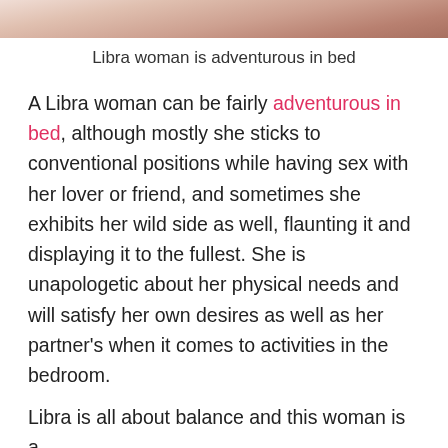[Figure (photo): Partial bottom crop of a photo of a woman]
Libra woman is adventurous in bed
A Libra woman can be fairly adventurous in bed, although mostly she sticks to conventional positions while having sex with her lover or friend, and sometimes she exhibits her wild side as well, flaunting it and displaying it to the fullest. She is unapologetic about her physical needs and will satisfy her own desires as well as her partner’s when it comes to activities in the bedroom.
Libra is all about balance and this woman is a